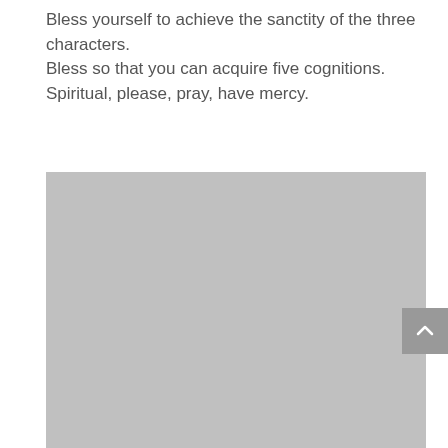Bless yourself to achieve the sanctity of the three characters.
Bless so that you can acquire five cognitions.
Spiritual, please, pray, have mercy.
[Figure (photo): A large gray rectangular placeholder image occupying the lower portion of the page.]